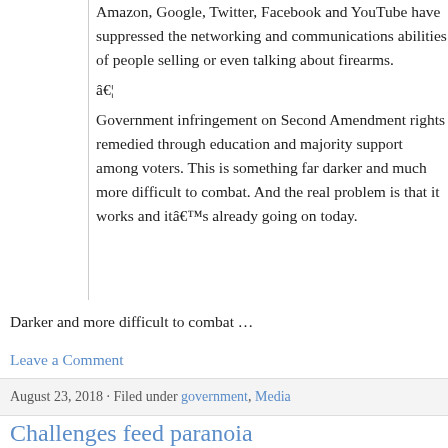Amazon, Google, Twitter, Facebook and YouTube have suppressed the networking and communications abilities of people selling or even talking about firearms. â€¦ Government infringement on Second Amendment rights remedied through education and majority support among voters. This is something far darker and much more difficult to combat. And the real problem is that it works and itâ€™s already going on today.
Darker and more difficult to combat …
Leave a Comment
August 23, 2018 · Filed under government, Media
Challenges feed paranoia
A Perfect Storm Threatens America’s Survival by Frank Hawkins “While there are still external challenges, the most serious threats are increasingly internal. Individually, each is troubling but not nece…